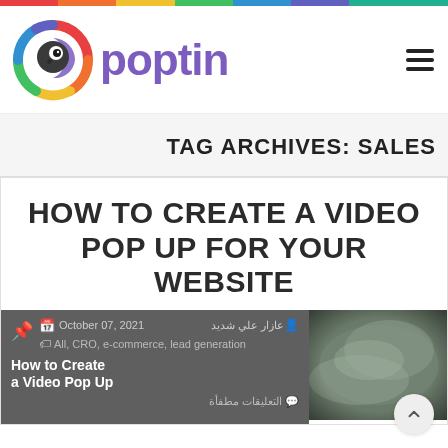[Figure (logo): Poptin logo with colorful parrot icon and purple 'poptin' text]
TAG ARCHIVES: SALES
HOW TO CREATE A VIDEO POP UP FOR YOUR WEBSITE
October 07, 2021 | عازار علي شديد | All, CRO, e-commerce, lead generation
How to Create a Video Pop Up
التعليقات مطفأة